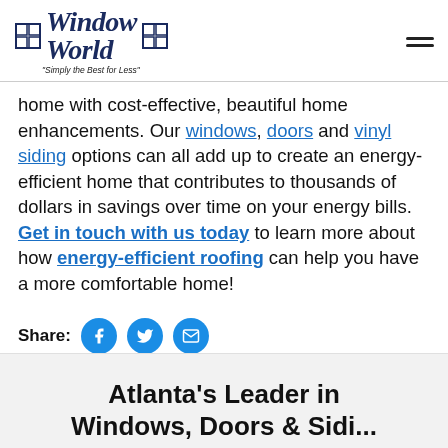Window World — Simply the Best for Less
home with cost-effective, beautiful home enhancements. Our windows, doors and vinyl siding options can all add up to create an energy-efficient home that contributes to thousands of dollars in savings over time on your energy bills. Get in touch with us today to learn more about how energy-efficient roofing can help you have a more comfortable home!
Share:
Atlanta's Leader in Windows, Doors & Sidi...